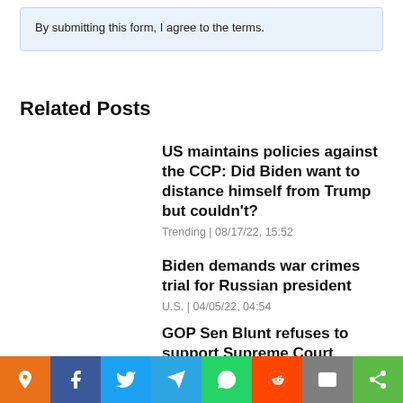By submitting this form, I agree to the terms.
Related Posts
US maintains policies against the CCP: Did Biden want to distance himself from Trump but couldn't?
Trending | 08/17/22, 15:52
Biden demands war crimes trial for Russian president
U.S. | 04/05/22, 04:54
GOP Sen Blunt refuses to support Supreme Court nominee
D.C. | 04/04/22, 15:04